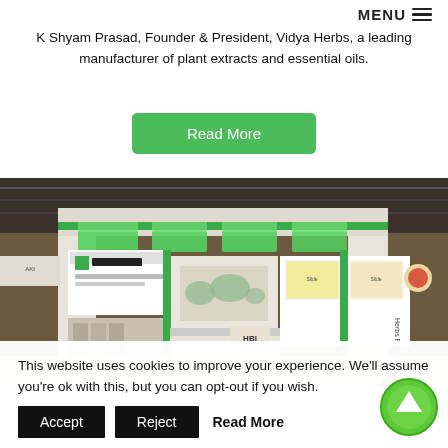MENU
K Shyam Prasad, Founder & President, Vidya Herbs, a leading manufacturer of plant extracts and essential oils.
Read More
[Figure (photo): Exhibition booth of Vidya Herbs Private Limited with green and white design, illuminated green ceiling panels, display screens, and a world map graphic.]
This website uses cookies to improve your experience. We'll assume you're ok with this, but you can opt-out if you wish.
Accept  Reject  Read More